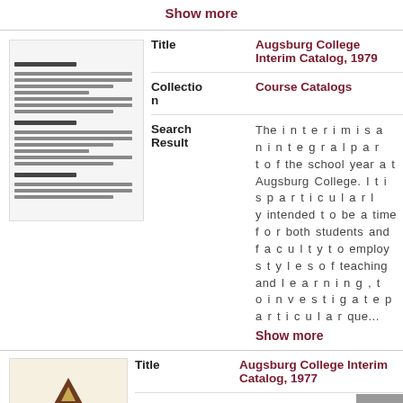Show more
[Figure (other): Thumbnail of a document page with text lines]
| Field | Value |
| --- | --- |
| Title | Augsburg College Interim Catalog, 1979 |
| Collection | Course Catalogs |
| Search Result | The interim is an integral part of the school year at Augsburg College. It is particularly intended to be a time for both students and faculty to employ styles of teaching and learning, to investigate particular que... Show more |
[Figure (logo): Augsburg College logo with stylized A and text AUGSBURG COLLEGE]
| Field | Value |
| --- | --- |
| Title | Augsburg College Interim Catalog, 1977 |
| Collectio n | Course Catalogs |